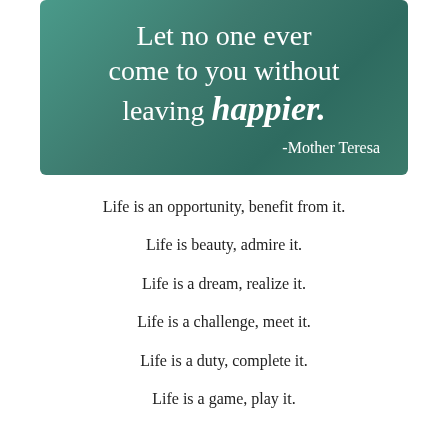[Figure (illustration): Teal/green gradient background rectangle with white text quote: 'Let no one ever come to you without leaving happier. -Mother Teresa']
Life is an opportunity, benefit from it.
Life is beauty, admire it.
Life is a dream, realize it.
Life is a challenge, meet it.
Life is a duty, complete it.
Life is a game, play it.